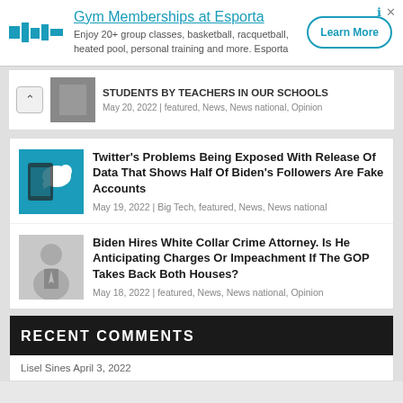[Figure (infographic): Advertisement banner for Gym Memberships at Esporta with logo, description text, and Learn More button]
STUDENTS BY TEACHERS IN OUR SCHOOLS
May 20, 2022 | featured, News, News national, Opinion
Twitter's Problems Being Exposed With Release Of Data That Shows Half Of Biden's Followers Are Fake Accounts
May 19, 2022 | Big Tech, featured, News, News national
Biden Hires White Collar Crime Attorney. Is He Anticipating Charges Or Impeachment If The GOP Takes Back Both Houses?
May 18, 2022 | featured, News, News national, Opinion
RECENT COMMENTS
Lisel Sines April 3, 2022